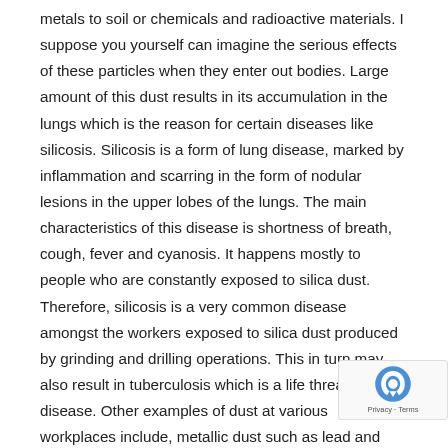metals to soil or chemicals and radioactive materials. I suppose you yourself can imagine the serious effects of these particles when they enter out bodies. Large amount of this dust results in its accumulation in the lungs which is the reason for certain diseases like silicosis. Silicosis is a form of lung disease, marked by inflammation and scarring in the form of nodular lesions in the upper lobes of the lungs. The main characteristics of this disease is shortness of breath, cough, fever and cyanosis. It happens mostly to people who are constantly exposed to silica dust. Therefore, silicosis is a very common disease amongst the workers exposed to silica dust produced by grinding and drilling operations. This in turn may also result in tuberculosis which is a life threatening disease. Other examples of dust at various workplaces include, metallic dust such as lead and cadmium and their components. People who work in fields are constantly exposed to dust from pesticides and other bulk chemical dust. They are also exposed to other kinds of organic dust such as vegetables dust, flour, wood, cotton, tea and pollens. Now, talking about the radioactive dust that comes from nuclear explosions in space continuously, fall on earth either directly or